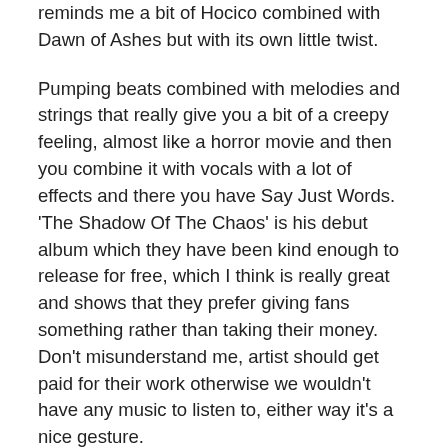Say Just Words a band from Chile with a clashing sound that reminds me a bit of Hocico combined with Dawn of Ashes but with its own little twist.
Pumping beats combined with melodies and strings that really give you a bit of a creepy feeling, almost like a horror movie and then you combine it with vocals with a lot of effects and there you have Say Just Words. 'The Shadow Of The Chaos' is his debut album which they have been kind enough to release for free, which I think is really great and shows that they prefer giving fans something rather than taking their money. Don't misunderstand me, artist should get paid for their work otherwise we wouldn't have any music to listen to, either way it's a nice gesture.
You get 7 tracks and 5 remixes made by some more famous and some less famous bands. The album starts with the track "Agony" (well, actually it starts with a intro but still) which is a real club track with a part that consist of some very powerful strings that really gripped med and overall the track is a real solid one, but I would like some higher volume of the vocals.
Then you have the track "No Away Out" which I think should